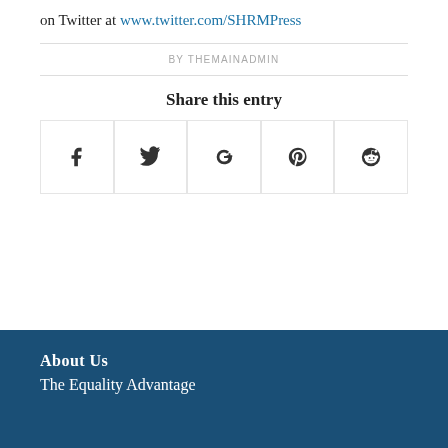on Twitter at www.twitter.com/SHRMPress
BY THEMAINADMIN
Share this entry
[Figure (infographic): Row of five social sharing icon boxes: Facebook (f), Twitter (bird), Google+ (g+), Pinterest (p), Reddit (alien face)]
About Us
The Equality Advantage